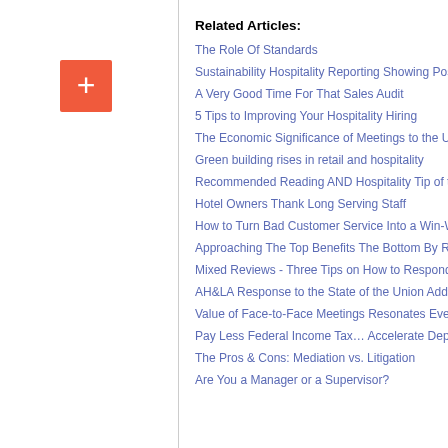[Figure (other): Orange/red square button with white plus sign]
Related Articles:
The Role Of Standards
Sustainability Hospitality Reporting Showing Pos...
A Very Good Time For That Sales Audit
5 Tips to Improving Your Hospitality Hiring
The Economic Significance of Meetings to the U...
Green building rises in retail and hospitality
Recommended Reading AND Hospitality Tip of th...
Hotel Owners Thank Long Serving Staff
How to Turn Bad Customer Service Into a Win-W...
Approaching The Top Benefits The Bottom By Ro...
Mixed Reviews - Three Tips on How to Respond...
AH&LA Response to the State of the Union Addre...
Value of Face-to-Face Meetings Resonates Ever...
Pay Less Federal Income Tax... Accelerate Depr...
The Pros & Cons: Mediation vs. Litigation
Are You a Manager or a Supervisor?